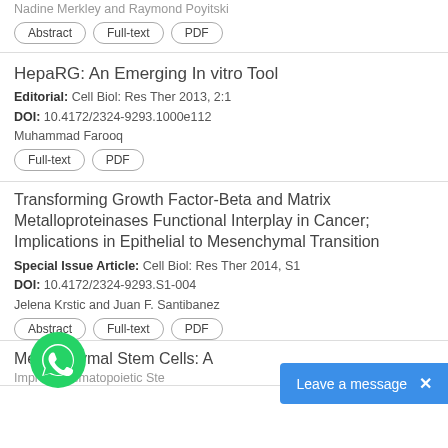Nadine Merkley and Raymond Poyitski
Abstract | Full-text | PDF
HepaRG: An Emerging In vitro Tool
Editorial: Cell Biol: Res Ther 2013, 2:1
DOI: 10.4172/2324-9293.1000e112
Muhammad Farooq
Full-text | PDF
Transforming Growth Factor-Beta and Matrix Metalloproteinases Functional Interplay in Cancer; Implications in Epithelial to Mesenchymal Transition
Special Issue Article: Cell Biol: Res Ther 2014, S1
DOI: 10.4172/2324-9293.S1-004
Jelena Krstic and Juan F. Santibanez
Abstract | Full-text | PDF
Mesenchymal Stem Cells: A...
Improve Hematopoietic Ste...